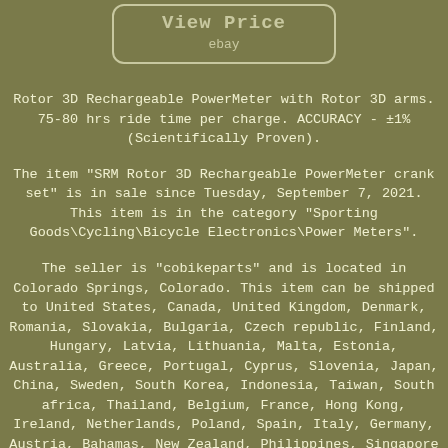[Figure (screenshot): eBay 'View Price' button with rounded rectangle border on olive/tan background]
Rotor 3D Rechargeable PowerMeter with Rotor 3D arms. 75-80 hrs ride time per charge. ACCURACY - ±1% (Scientifically Proven).
The item "SRM Rotor 3D Rechargeable PowerMeter crank set" is in sale since Tuesday, September 7, 2021. This item is in the category "Sporting Goods\Cycling\Bicycle Electronics\Power Meters".
The seller is "cobikeparts" and is located in Colorado Springs, Colorado. This item can be shipped to United States, Canada, United Kingdom, Denmark, Romania, Slovakia, Bulgaria, Czech republic, Finland, Hungary, Latvia, Lithuania, Malta, Estonia, Australia, Greece, Portugal, Cyprus, Slovenia, Japan, China, Sweden, South Korea, Indonesia, Taiwan, South africa, Thailand, Belgium, France, Hong Kong, Ireland, Netherlands, Poland, Spain, Italy, Germany, Austria, Bahamas, New Zealand, Philippines, Singapore